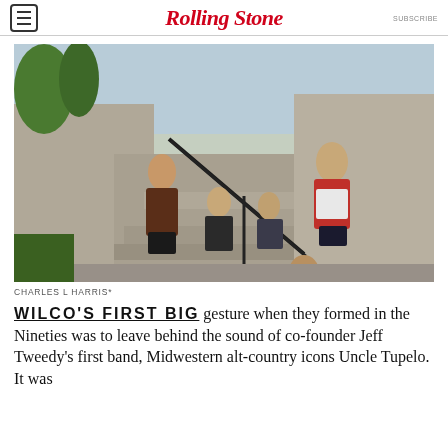Rolling Stone | SUBSCRIBE
[Figure (photo): Band photo of Wilco members posed on concrete outdoor steps. One member in red jacket stands at top, others sit on steps or ground below. Black metal railing runs through scene.]
CHARLES L HARRIS*
WILCO'S FIRST BIG gesture when they formed in the Nineties was to leave behind the sound of co-founder Jeff Tweedy's first band, Midwestern alt-country icons Uncle Tupelo. It was